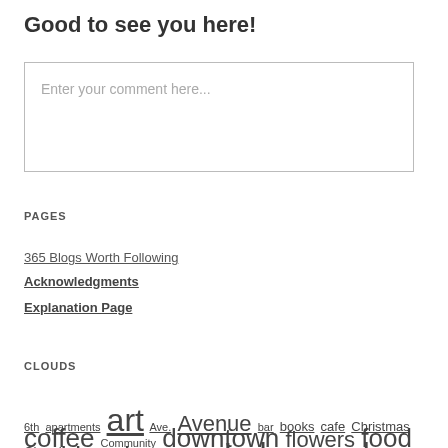Good to see you here!
Enter your comment here...
PAGES
365 Blogs Worth Following
Acknowledgments
Explanation Page
CLOUDS
6th apartments art Ave. Avenue bar books cafe Christmas Church coffee Community downtown flowers food Granbury grocery Hilltop historic history house Lakewood library lunch Mt